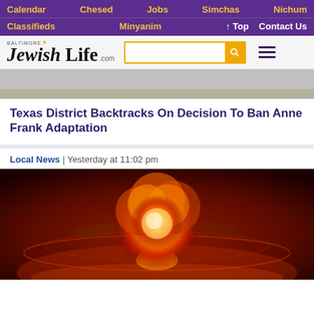Calendar | Chesed | Jobs | Simchas | Nichum
Classifieds | Minyanim | ↑ Top | Contact Us
[Figure (logo): Baltimore Jewish Life .com logo with search bar and hamburger menu]
[Figure (photo): Partial image visible at top — appears to be a road or path scene]
Texas District Backtracks On Decision To Ban Anne Frank Adaptation
Local News | Yesterday at 11:02 pm
[Figure (photo): Nuclear explosion mushroom cloud fireball on dark red background]